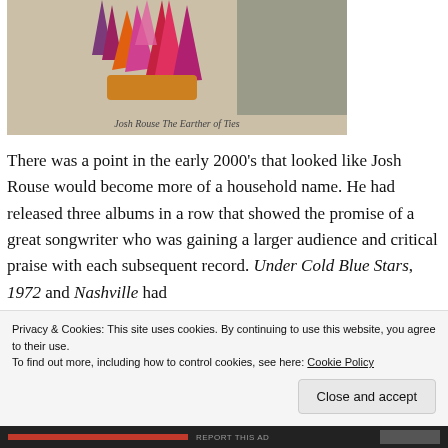[Figure (photo): Album artwork image showing stylized flowers (pink/red/purple/orange) against a muted tan/sepia background with script text caption reading 'Josh Rouse The Earther of Ties']
There was a point in the early 2000's that looked like Josh Rouse would become more of a household name. He had released three albums in a row that showed the promise of a great songwriter who was gaining a larger audience and critical praise with each subsequent record. Under Cold Blue Stars, 1972 and Nashville had
Privacy & Cookies: This site uses cookies. By continuing to use this website, you agree to their use.
To find out more, including how to control cookies, see here: Cookie Policy
Close and accept